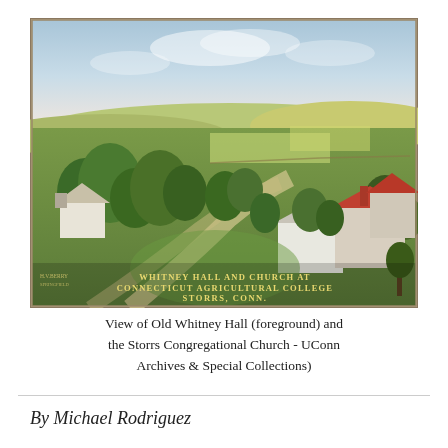[Figure (photo): Vintage colorized postcard photograph showing an aerial/elevated view of Whitney Hall and the Storrs Congregational Church at Connecticut Agricultural College, Storrs, Connecticut. The scene shows green rolling hills, trees, curved pathways, and several buildings with red roofs. Text on the postcard reads: 'WHITNEY HALL AND CHURCH AT CONNECTICUT AGRICULTURAL COLLEGE STORRS, CONN.']
View of Old Whitney Hall (foreground) and the Storrs Congregational Church - UConn Archives & Special Collections)
By Michael Rodriguez